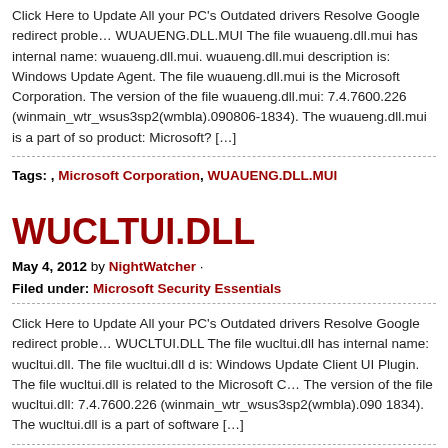Click Here to Update All your PC's Outdated drivers Resolve Google redirect proble… WUAUENG.DLL.MUI The file wuaueng.dll.mui has internal name: wuaueng.dll.mui. wuaueng.dll.mui description is: Windows Update Agent. The file wuaueng.dll.mui is the Microsoft Corporation. The version of the file wuaueng.dll.mui: 7.4.7600.226 (winmain_wtr_wsus3sp2(wmbla).090806-1834). The wuaueng.dll.mui is a part of so product: Microsoft? […]
Tags: , Microsoft Corporation, WUAUENG.DLL.MUI
WUCLTUI.DLL
May 4, 2012 by NightWatcher · Filed under: Microsoft Security Essentials
Click Here to Update All your PC's Outdated drivers Resolve Google redirect proble… WUCLTUI.DLL The file wucltui.dll has internal name: wucltui.dll. The file wucltui.dll description is: Windows Update Client UI Plugin. The file wucltui.dll is related to the Microsoft C… The version of the file wucltui.dll: 7.4.7600.226 (winmain_wtr_wsus3sp2(wmbla).090 1834). The wucltui.dll is a part of software […]
Tags: , Microsoft Corporation, WUCLTUI.DLL